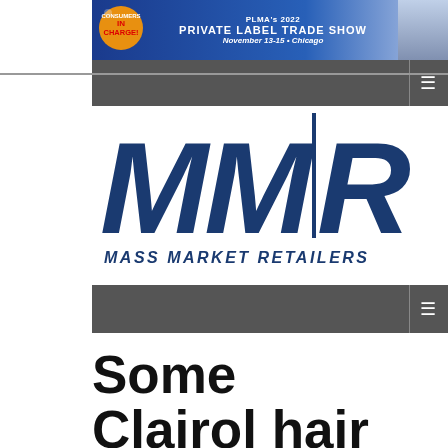[Figure (other): PLMA's 2022 Private Label Trade Show advertisement banner - November 13-15, Chicago]
[Figure (logo): MMR Mass Market Retailers logo in dark navy blue]
Some Clairol hair coloring products